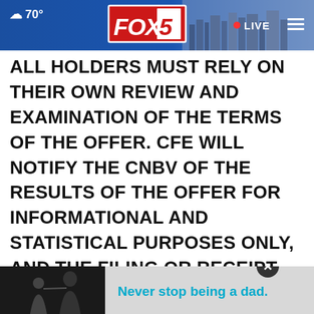[Figure (screenshot): FOX 5 news website browser header bar showing weather (cloud icon, 70°), FOX 5 logo in red box, city skyline photo on right, LIVE indicator with red dot, and hamburger menu icon, all on a blue gradient background.]
ALL HOLDERS MUST RELY ON THEIR OWN REVIEW AND EXAMINATION OF THE TERMS OF THE OFFER. CFE WILL NOTIFY THE CNBV OF THE RESULTS OF THE OFFER FOR INFORMATIONAL AND STATISTICAL PURPOSES ONLY, AND THE FILING OR RECEIPT OF SUCH NOTICE BY THE CNBV DOES NOT IMPLY ANY CERTIFICATION AS TO THE INVESTMENT QUALITY OF THE NOTES, CFE'S SOLVENCY, LIQUIDITY OR CREDIT QUALITY OR TH[E ACCURACY...] ACCU[RACY...]
[Figure (screenshot): Bottom advertisement overlay showing a black-and-white photo of an adult and child (father and son), with text 'Never stop being a dad.' in cyan/teal color on a grey background, and a close (X) button.]